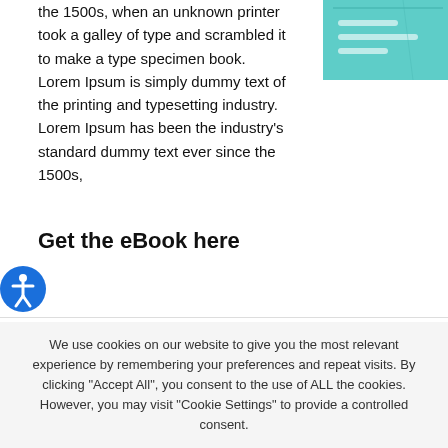the 1500s, when an unknown printer took a galley of type and scrambled it to make a type specimen book. Lorem Ipsum is simply dummy text of the printing and typesetting industry. Lorem Ipsum has been the industry's standard dummy text ever since the 1500s,
[Figure (illustration): Partial view of a teal/mint colored book or tablet device in upper right corner]
Get the eBook here
[Figure (illustration): Blue circular accessibility icon button with a human figure symbol]
We use cookies on our website to give you the most relevant experience by remembering your preferences and repeat visits. By clicking "Accept All", you consent to the use of ALL the cookies. However, you may visit "Cookie Settings" to provide a controlled consent.